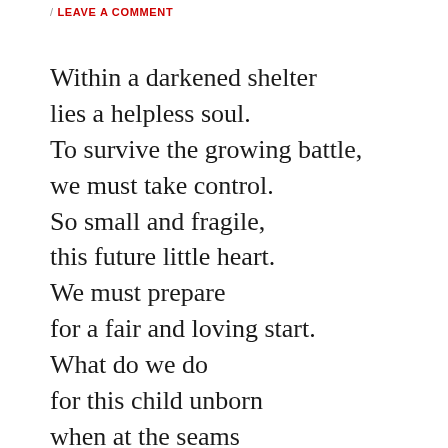/ LEAVE A COMMENT
Within a darkened shelter
lies a helpless soul.
To survive the growing battle,
we must take control.
So small and fragile,
this future little heart.
We must prepare
for a fair and loving start.
What do we do
for this child unborn
when at the seams
we all are torn?
Within her womb